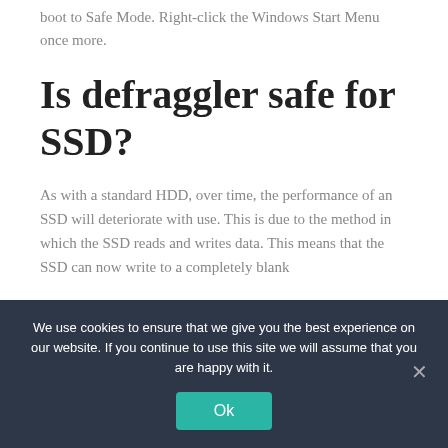boot to Safe Mode. Right-click the Windows Start Menu once more.
Is defraggler safe for SSD?
As with a standard HDD, over time, the performance of an SSD will deteriorate with use. This is due to the method in which the SSD reads and writes data. This means that the SSD can now write to a completely blank
We use cookies to ensure that we give you the best experience on our website. If you continue to use this site we will assume that you are happy with it.
Ok